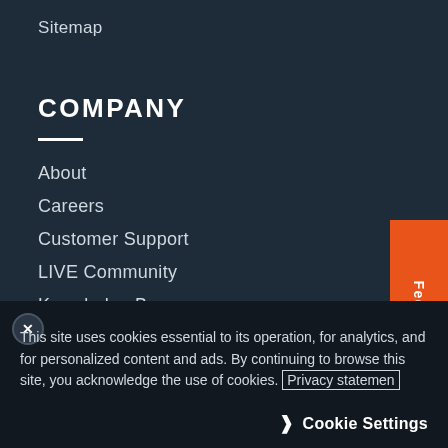Sitemap
COMPANY
About
Careers
Customer Support
LIVE Community
Knowledge Base
LEGAL NOTICES
This site uses cookies essential to its operation, for analytics, and for personalized content and ads. By continuing to browse this site, you acknowledge the use of cookies. Privacy statement
Cookie Settings